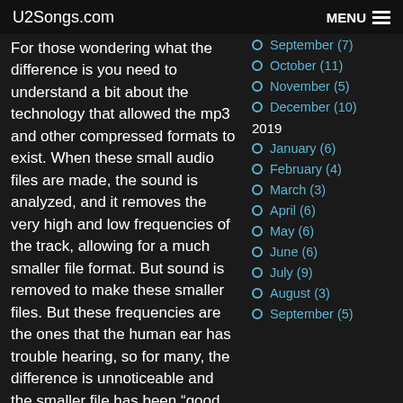U2Songs.com  MENU
For those wondering what the difference is you need to understand a bit about the technology that allowed the mp3 and other compressed formats to exist. When these small audio files are made, the sound is analyzed, and it removes the very high and low frequencies of the track, allowing for a much smaller file format. But sound is removed to make these smaller files. But these frequencies are the ones that the human ear has trouble hearing, so for many, the difference is unnoticeable and the smaller file has been “good enough”. Now with file space being less of a concern than it was 25 years ago, companies are moving to retaining that audio information,
September (7)
October (11)
November (5)
December (10)
2019
January (6)
February (4)
March (3)
April (6)
May (6)
June (6)
July (9)
August (3)
September (5)